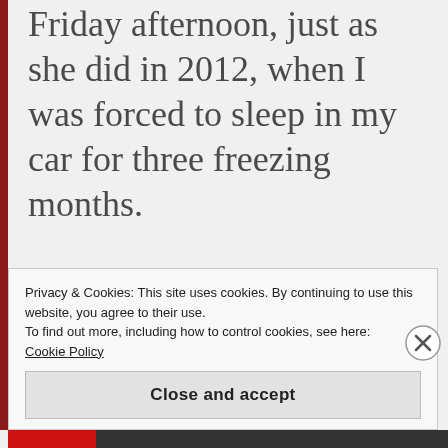Friday afternoon, just as she did in 2012, when I was forced to sleep in my car for three freezing months.

See, I started staying with my daughter
Privacy & Cookies: This site uses cookies. By continuing to use this website, you agree to their use.
To find out more, including how to control cookies, see here:
Cookie Policy
Close and accept